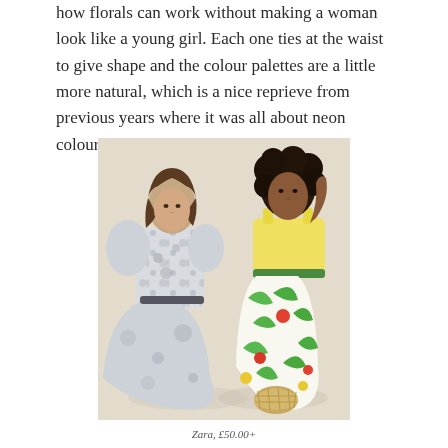how florals can work without making a woman look like a young girl. Each one ties at the waist to give shape and the colour palettes are a little more natural, which is a nice reprieve from previous years where it was all about neon colours.
[Figure (photo): Two female models posing together. The model on the left wears an off-shoulder grey/white floral print midi dress with balloon sleeves. The model on the right wears a yellow-top tropical floral print dress with a green belt and holds a wicker bag. Background is a neutral cream/beige.]
Zara, £50.00+